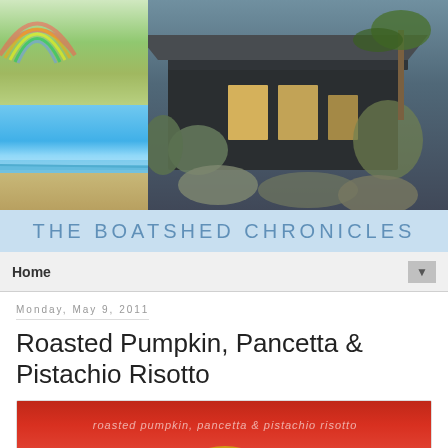[Figure (photo): Blog header banner with collage of photos: top-left a rainbow over green fields, bottom-left a beach with blue ocean and sky, right side a dark-painted boatshed house with garden and palm trees]
THE BOATSHED CHRONICLES
Home
Monday, May 9, 2011
Roasted Pumpkin, Pancetta & Pistachio Risotto
[Figure (photo): Close-up photo of a red/orange dish with text overlay reading 'roasted pumpkin, pancetta & pistachio risotto' and a yellow yolk-like element at the bottom]